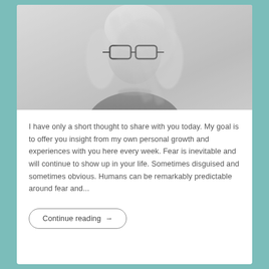[Figure (photo): Black and white photo of a woman with glasses and shoulder-length light hair, wearing a dark top and necklace, with a blurred/double-exposure artistic effect]
I have only a short thought to share with you today. My goal is to offer you insight from my own personal growth and experiences with you here every week. Fear is inevitable and will continue to show up in your life. Sometimes disguised and sometimes obvious. Humans can be remarkably predictable around fear and...
Continue reading →